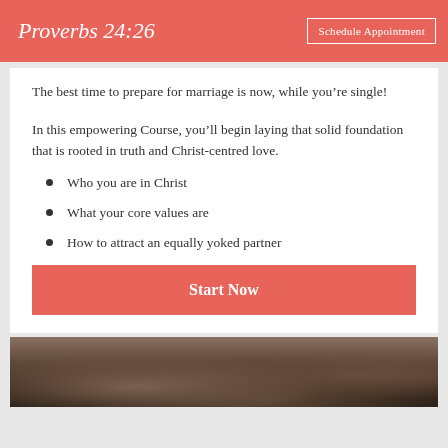Proverbs 24:26
The best time to prepare for marriage is now, while you’re single!
In this empowering Course, you’ll begin laying that solid foundation that is rooted in truth and Christ-centred love.
Who you are in Christ
What your core values are
How to attract an equally yoked partner
Start Now
[Figure (photo): A photograph showing curly dark hair, likely a person's head viewed from above or behind.]